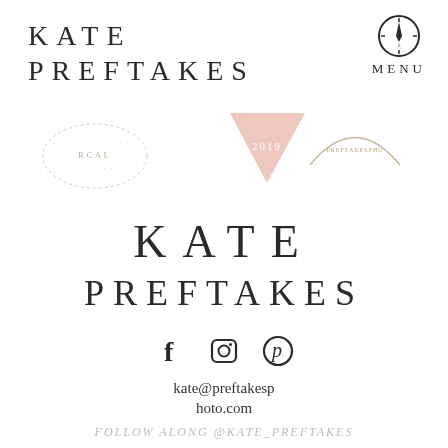KATE PREFTAKES
[Figure (logo): Compass/navigation icon with MENU label in top right]
[Figure (logo): Three small badge/logo graphics: circular badge on left, pink triangle with 2019 in center, semicircle decorative badge on right]
KATE PREFTAKES
[Figure (logo): Social media icons: Facebook, Instagram, Pinterest]
kate@preftakesp hoto.com
FOLLOW ALONG @KATE_PREFTAKES